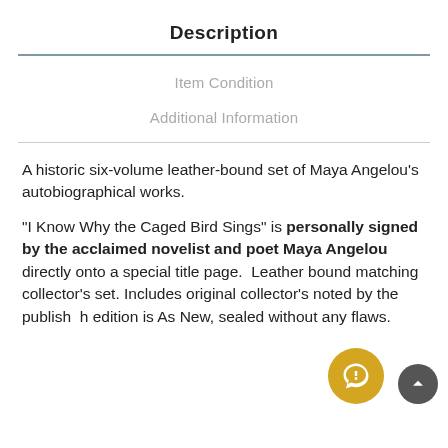Description
Item Condition
Additional Information
A historic six-volume leather-bound set of Maya Angelou's autobiographical works.

"I Know Why the Caged Bird Sings" is personally signed by the acclaimed novelist and poet Maya Angelou directly onto a special title page.  Leather bound matching collector's set. Includes original collector's noted by the publish h edition is As New, sealed without any flaws.